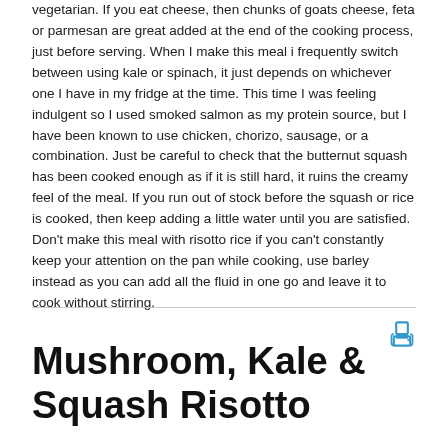vegetarian. If you eat cheese, then chunks of goats cheese, feta or parmesan are great added at the end of the cooking process, just before serving. When I make this meal i frequently switch between using kale or spinach, it just depends on whichever one I have in my fridge at the time. This time I was feeling indulgent so I used smoked salmon as my protein source, but I have been known to use chicken, chorizo, sausage, or a combination. Just be careful to check that the butternut squash has been cooked enough as if it is still hard, it ruins the creamy feel of the meal. If you run out of stock before the squash or rice is cooked, then keep adding a little water until you are satisfied. Don't make this meal with risotto rice if you can't constantly keep your attention on the pan while cooking, use barley instead as you can add all the fluid in one go and leave it to cook without stirring.
Mushroom, Kale & Squash Risotto
[Figure (photo): A pan on a stove with food cooking in it, showing a risotto dish with green vegetables visible.]